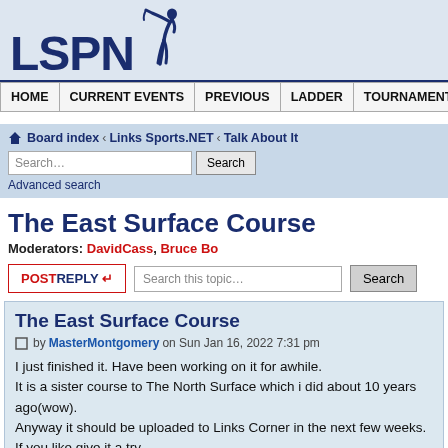[Figure (logo): LSPN logo with golfer silhouette icon, dark navy blue text on light blue background]
HOME | CURRENT EVENTS | PREVIOUS | LADDER | TOURNAMENTS | STA
Board index « Links Sports.NET « Talk About It
Search... [Search button] Advanced search
The East Surface Course
Moderators: DavidCass, Bruce Bo
POSTREPLY ↩  Search this topic... [Search button]
The East Surface Course
by MasterMontgomery on Sun Jan 16, 2022 7:31 pm
I just finished it. Have been working on it for awhile.
It is a sister course to The North Surface which i did about 10 years ago(wow).
Anyway it should be uploaded to Links Corner in the next few weeks. If you like give it a try.